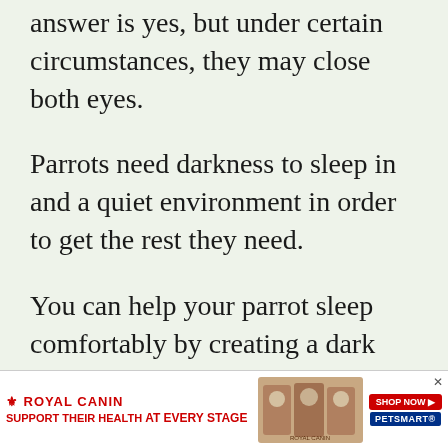answer is yes, but under certain circumstances, they may close both eyes.
Parrots need darkness to sleep in and a quiet environment in order to get the rest they need.
You can help your parrot sleep comfortably by creating a dark and quiet room for them to sleep in.
Providing a soft perch or bedding material
[Figure (other): Royal Canin advertisement banner: 'SUPPORT THEIR HEALTH AT EVERY STAGE' with product images and PetSmart logo]